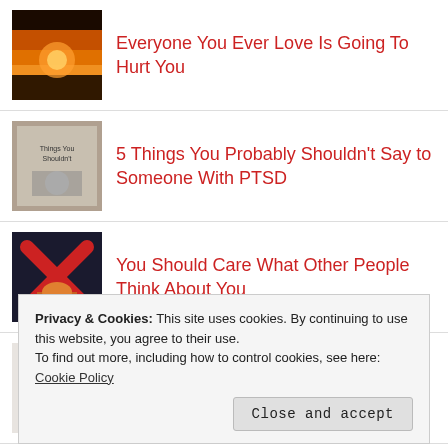Everyone You Ever Love Is Going To Hurt You
5 Things You Probably Shouldn't Say to Someone With PTSD
You Should Care What Other People Think About You
Cat-AWOL
Privacy & Cookies: This site uses cookies. By continuing to use this website, you agree to their use.
To find out more, including how to control cookies, see here: Cookie Policy
Close and accept